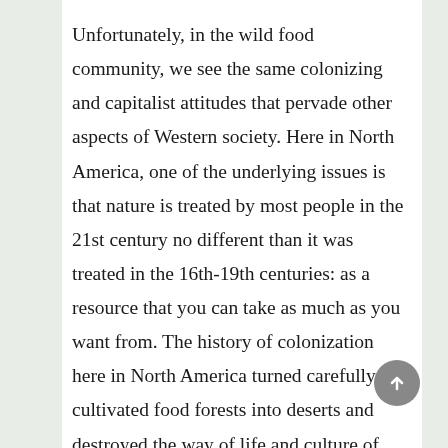Unfortunately, in the wild food community, we see the same colonizing and capitalist attitudes that pervade other aspects of Western society. Here in North America, one of the underlying issues is that nature is treated by most people in the 21st century no different than it was treated in the 16th-19th centuries: as a resource that you can take as much as you want from. The history of colonization here in North America turned carefully cultivated food forests into deserts and destroyed the way of life and culture of indigenous peoples who lived in harmony with nature. The current practices of land ownership and individualism stress this further–the assumption is that if it's your land, you can do what you want